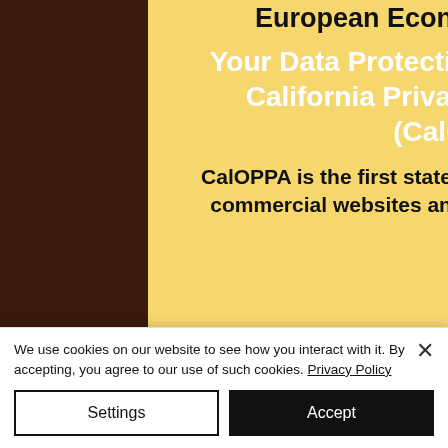European Economic Area (EEA).
Your Data Protection Rights under the California Privacy Protection Act (CalOPPA)
CalOPPA is the first state law in the nation to require commercial websites and online services to post a
We use cookies on our website to see how you interact with it. By accepting, you agree to our use of such cookies. Privacy Policy